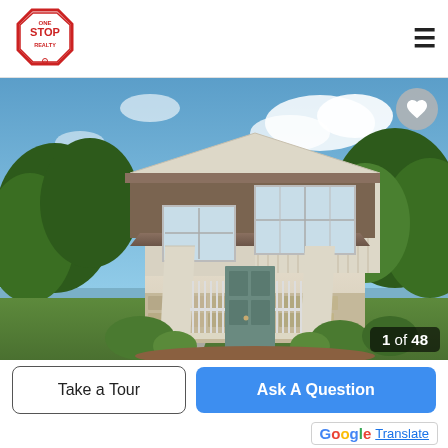[Figure (logo): One Stop Realty logo - red stop sign shape with text ONE STOP REALTY]
[Figure (photo): Exterior photo of a two-story craftsman-style house with beige siding, brown roof, front porch with white columns, stone accents, and green trees in background. Photo counter shows 1 of 48.]
Take a Tour
Ask A Question
G Translate